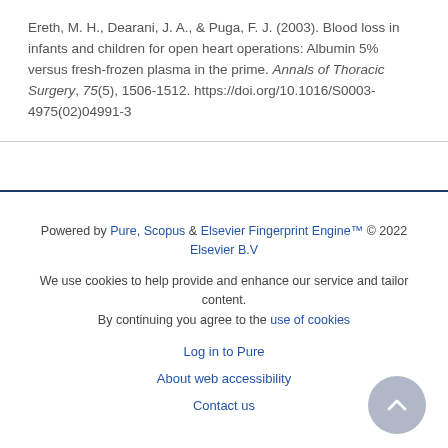Ereth, M. H., Dearani, J. A., & Puga, F. J. (2003). Blood loss in infants and children for open heart operations: Albumin 5% versus fresh-frozen plasma in the prime. Annals of Thoracic Surgery, 75(5), 1506-1512. https://doi.org/10.1016/S0003-4975(02)04991-3
Powered by Pure, Scopus & Elsevier Fingerprint Engine™ © 2022 Elsevier B.V
We use cookies to help provide and enhance our service and tailor content. By continuing you agree to the use of cookies
Log in to Pure
About web accessibility
Contact us